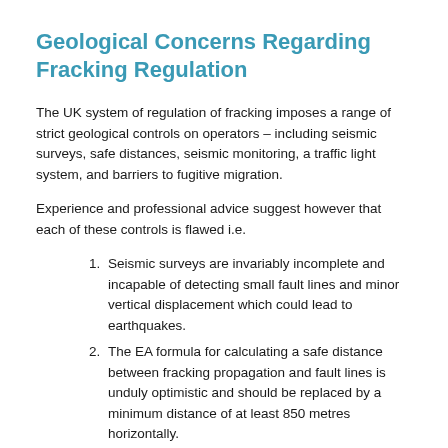Geological Concerns Regarding Fracking Regulation
The UK system of regulation of fracking imposes a range of strict geological controls on operators – including seismic surveys, safe distances, seismic monitoring, a traffic light system, and barriers to fugitive migration.
Experience and professional advice suggest however that each of these controls is flawed i.e.
Seismic surveys are invariably incomplete and incapable of detecting small fault lines and minor vertical displacement which could lead to earthquakes.
The EA formula for calculating a safe distance between fracking propagation and fault lines is unduly optimistic and should be replaced by a minimum distance of at least 850 metres horizontally.
The sequence of events at both the Preese Hall and